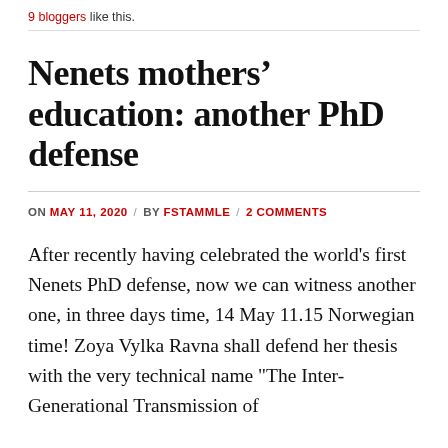9 bloggers like this.
Nenets mothers’ education: another PhD defense
ON MAY 11, 2020 / BY FSTAMMLE / 2 COMMENTS
After recently having celebrated the world's first Nenets PhD defense, now we can witness another one, in three days time, 14 May 11.15 Norwegian time! Zoya Vylka Ravna shall defend her thesis with the very technical name "The Inter-Generational Transmission of